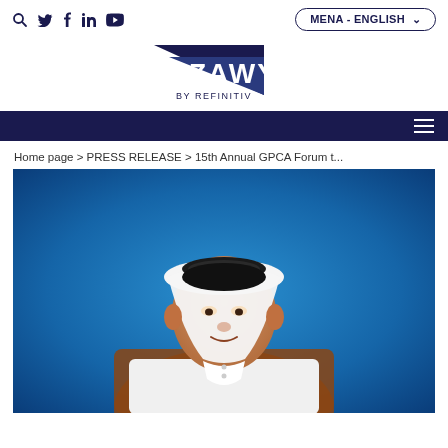ZAWYA BY REFINITIV — MENA - ENGLISH
Home page > PRESS RELEASE > 15th Annual GPCA Forum t...
[Figure (photo): Portrait photo of a man in traditional Gulf Arab white thobe and black ghutra headdress, seated in a brown leather chair against a blue background]